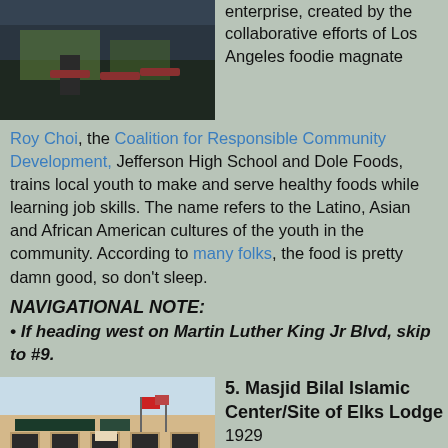[Figure (photo): Photo of indoor/outdoor restaurant or food truck setting with dark background and red chairs]
enterprise, created by the collaborative efforts of Los Angeles foodie magnate Roy Choi, the Coalition for Responsible Community Development, Jefferson High School and Dole Foods, trains local youth to make and serve healthy foods while learning job skills. The name refers to the Latino, Asian and African American cultures of the youth in the community. According to many folks, the food is pretty damn good, so don't sleep.
NAVIGATIONAL NOTE:
If heading west on Martin Luther King Jr Blvd, skip to #9.
[Figure (photo): Photo of Masjid Bilal Islamic Center building with arched doorways and flags]
5. Masjid Bilal Islamic Center/Site of Elks Lodge
1929
4016 S. Central